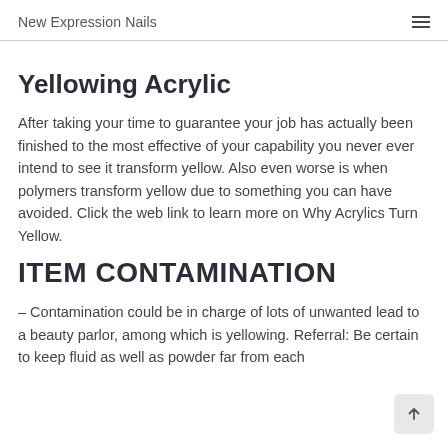New Expression Nails
Yellowing Acrylic
After taking your time to guarantee your job has actually been finished to the most effective of your capability you never ever intend to see it transform yellow. Also even worse is when polymers transform yellow due to something you can have avoided. Click the web link to learn more on Why Acrylics Turn Yellow.
ITEM CONTAMINATION
– Contamination could be in charge of lots of unwanted lead to a beauty parlor, among which is yellowing. Referral: Be certain to keep fluid as well as powder far from each